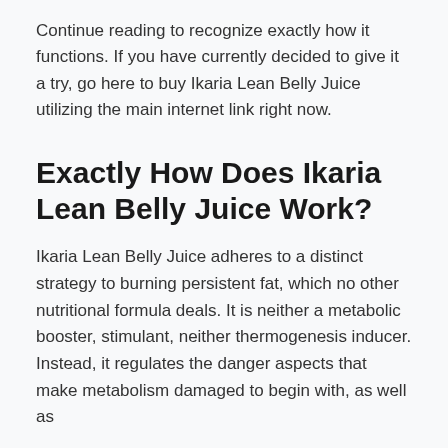Continue reading to recognize exactly how it functions. If you have currently decided to give it a try, go here to buy Ikaria Lean Belly Juice utilizing the main internet link right now.
Exactly How Does Ikaria Lean Belly Juice Work?
Ikaria Lean Belly Juice adheres to a distinct strategy to burning persistent fat, which no other nutritional formula deals. It is neither a metabolic booster, stimulant, neither thermogenesis inducer. Instead, it regulates the danger aspects that make metabolism damaged to begin with, as well as